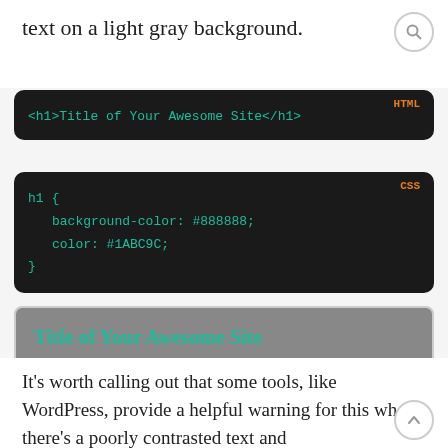text on a light gray background.
[Figure (screenshot): HTML code block showing: <h1>Title of Your Awesome Site</h1> with label 'HTML' in orange top right]
[Figure (screenshot): CSS code block showing: h1 { background-color: #888888; color: #1ABC9C; } with label 'CSS' in orange top right]
[Figure (screenshot): Preview box showing 'Title of Your Awesome Site' in teal on gray background header, and 'Yikes!' text below on light gray]
It’s worth calling out that some tools, like WordPress, provide a helpful warning for this when there’s a poorly contrasted text and